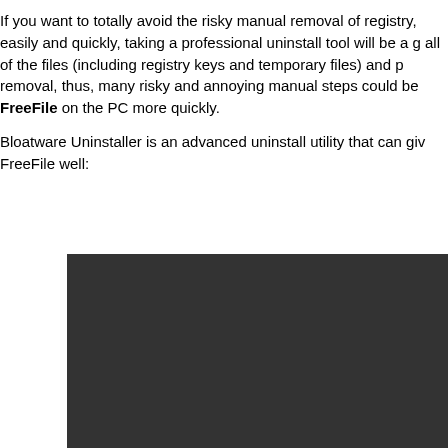If you want to totally avoid the risky manual removal of registry, easily and quickly, taking a professional uninstall tool will be a good idea. It can remove all of the files (including registry keys and temporary files) and programs for removal, thus, many risky and annoying manual steps could be skipped. Uninstall FreeFile on the PC more quickly.
Bloatware Uninstaller is an advanced uninstall utility that can give a hand to uninstall FreeFile well:
[Figure (screenshot): Dark/black screenshot area representing a software interface, possibly Bloatware Uninstaller application window]